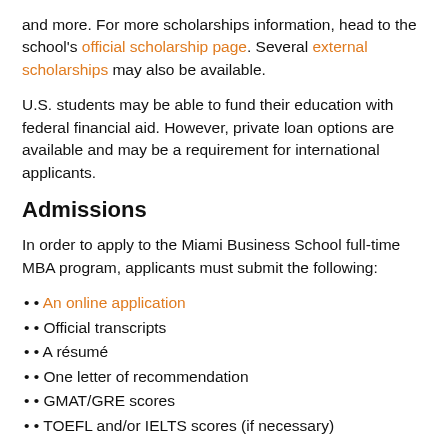and more. For more scholarships information, head to the school's official scholarship page. Several external scholarships may also be available.
U.S. students may be able to fund their education with federal financial aid. However, private loan options are available and may be a requirement for international applicants.
Admissions
In order to apply to the Miami Business School full-time MBA program, applicants must submit the following:
An online application
Official transcripts
A résumé
One letter of recommendation
GMAT/GRE scores
TOEFL and/or IELTS scores (if necessary)
Once applications are complete, strong candidates will be invited to conduct an interview with the Miami Business School admissions team.